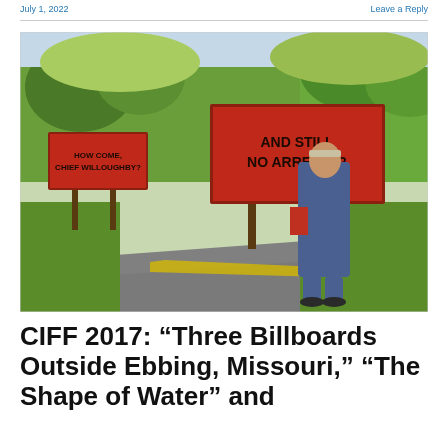July 1, 2022   Leave a Reply
[Figure (photo): Scene from 'Three Billboards Outside Ebbing, Missouri' showing a woman in blue coveralls and red sleeves walking along a rural road with two red billboards in the background. The billboards read 'HOW COME, CHIEF WILLOUGHBY?' and 'AND STILL NO ARRESTS?'. Green wooded hills in background.]
CIFF 2017: “Three Billboards Outside Ebbing, Missouri,” “The Shape of Water” and